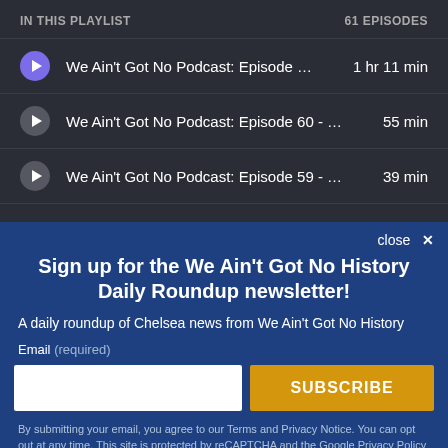IN THIS PLAYLIST   61 EPISODES
We Ain't Got No Podcast: Episode … 1 hr 11 min
We Ain't Got No Podcast: Episode 60 - … 55 min
We Ain't Got No Podcast: Episode 59 - … 39 min
Sign up for the We Ain't Got No History Daily Roundup newsletter!
A daily roundup of Chelsea news from We Ain't Got No History
Email (required)
By submitting your email, you agree to our Terms and Privacy Notice. You can opt out at any time. This site is protected by reCAPTCHA and the Google Privacy Policy and Terms of Service apply.